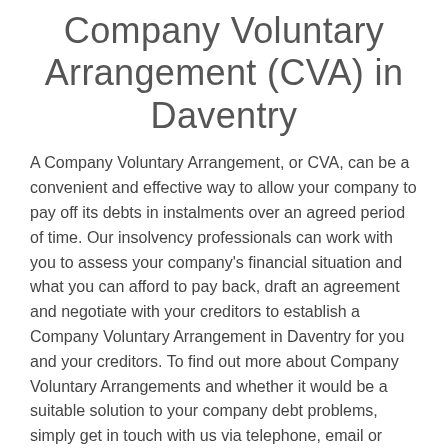Company Voluntary Arrangement (CVA) in Daventry
A Company Voluntary Arrangement, or CVA, can be a convenient and effective way to allow your company to pay off its debts in instalments over an agreed period of time. Our insolvency professionals can work with you to assess your company's financial situation and what you can afford to pay back, draft an agreement and negotiate with your creditors to establish a Company Voluntary Arrangement in Daventry for you and your creditors. To find out more about Company Voluntary Arrangements and whether it would be a suitable solution to your company debt problems, simply get in touch with us via telephone, email or online live chat.